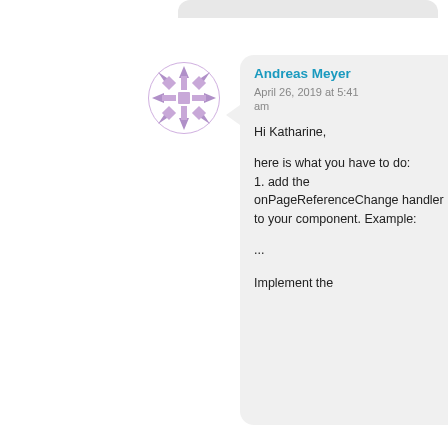[Figure (illustration): Partial chat bubble at top right, cut off]
[Figure (photo): User avatar: decorative purple/mauve geometric snowflake pattern on white background]
Andreas Meyer
April 26, 2019 at 5:41 am

Hi Katharine,

here is what you have to do:
1. add the onPageReferenceChange handler to your component. Example:

...

Implement the
April 26, 2019 at 5:41 am